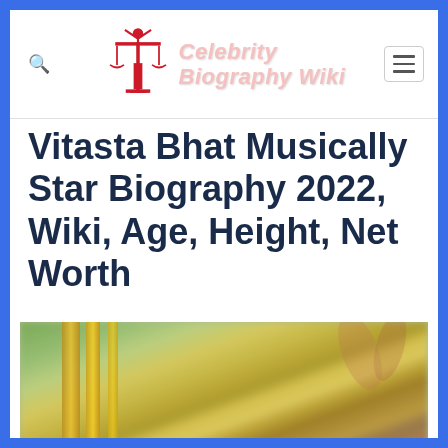Celebrity Biography Wiki
Vitasta Bhat Musically Star Biography 2022, Wiki, Age, Height, Net Worth
[Figure (photo): Outdoor blurred photo showing bamboo/yellow poles and arms raised, likely a dance or performance scene]